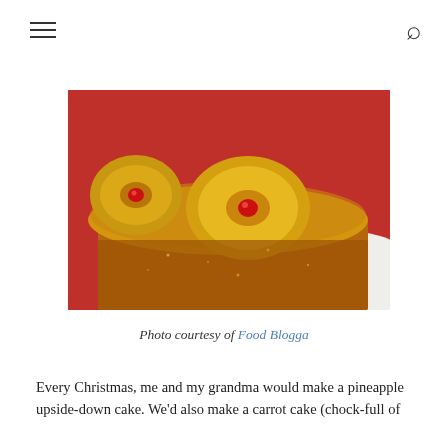[Figure (photo): Close-up photograph of a pineapple upside-down cake with caramelized pineapple rings and maraschino cherries on a white plate, against a red background]
Photo courtesy of Food Blogga
Every Christmas, me and my grandma would make a pineapple upside-down cake. We'd also make a carrot cake (chock-full of